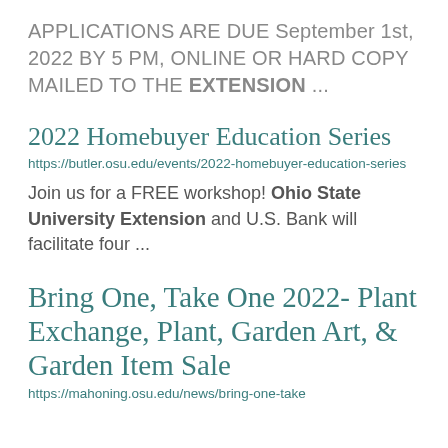APPLICATIONS ARE DUE September 1st, 2022 BY 5 PM, ONLINE OR HARD COPY MAILED TO THE EXTENSION ...
2022 Homebuyer Education Series
https://butler.osu.edu/events/2022-homebuyer-education-series
Join us for a FREE workshop! Ohio State University Extension and U.S. Bank will facilitate four ...
Bring One, Take One 2022- Plant Exchange, Plant, Garden Art, & Garden Item Sale
https://mahoning.osu.edu/news/bring-one-take